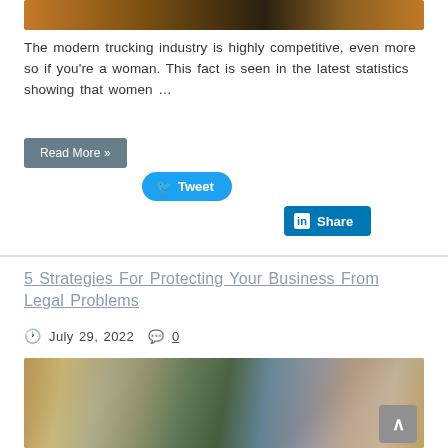[Figure (photo): Top portion of a nighttime highway/trucking image, blurred lights]
The modern trucking industry is highly competitive, even more so if you're a woman. This fact is seen in the latest statistics showing that women …
Read More »
[Figure (other): Tweet button (blue rounded), LinkedIn Share button (blue), Pinterest Pin it button (outlined red text)]
5 Strategies For Protecting Your Business From Legal Problems
July 29, 2022  0
[Figure (photo): Office scene with a woman with curly hair and glasses smiling in foreground, other people in background]